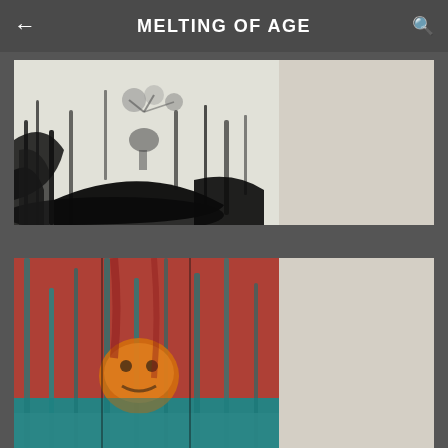MELTING OF AGE
[Figure (photo): Black and white abstract painting on canvas showing a figure with dripping paint effects, mounted on a wall. The left portion shows a dark dramatic artwork, the right portion shows the plain wall beside it.]
[Figure (photo): Colorful abstract painting in red, teal/blue, and orange tones with dripping vertical streaks and a face-like form, mounted on a wall. The left portion shows the artwork, the right portion shows the plain wall beside it.]